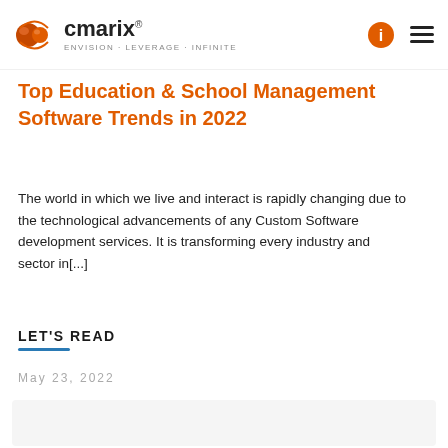cmarix® Envision · Leverage · Infinite
Top Education & School Management Software Trends in 2022
The world in which we live and interact is rapidly changing due to the technological advancements of any Custom Software development services. It is transforming every industry and sector in[...]
LET'S READ
May 23, 2022
[Figure (other): Bottom image/content placeholder area]